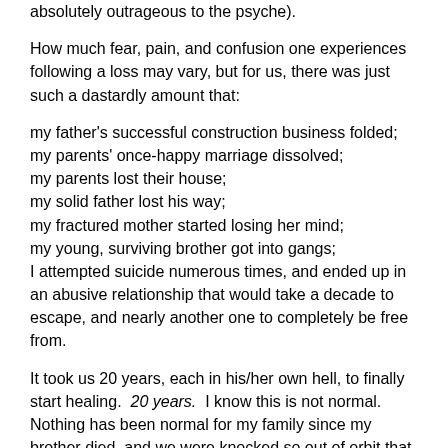absolutely outrageous to the psyche).
How much fear, pain, and confusion one experiences following a loss may vary, but for us, there was just such a dastardly amount that:
my father's successful construction business folded;
my parents' once-happy marriage dissolved;
my parents lost their house;
my solid father lost his way;
my fractured mother started losing her mind;
my young, surviving brother got into gangs;
I attempted suicide numerous times, and ended up in an abusive relationship that would take a decade to escape, and nearly another one to completely be free from.
It took us 20 years, each in his/her own hell, to finally start healing.  20 years.  I know this is not normal.  Nothing has been normal for my family since my brother died, and we were knocked so out of orbit that we did not know how to regain footing.  We were spinning, and everyone saw our spinning.